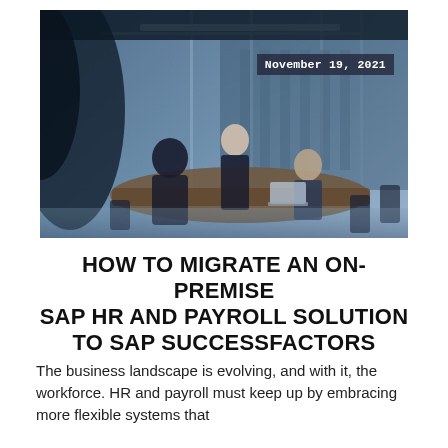[Figure (photo): Office meeting scene with several business professionals around a conference table in a modern glass-walled office. Blue-toned lighting. Date overlay reads November 19, 2021.]
HOW TO MIGRATE AN ON-PREMISE SAP HR AND PAYROLL SOLUTION TO SAP SUCCESSFACTORS
The business landscape is evolving, and with it, the workforce. HR and payroll must keep up by embracing more flexible systems that...